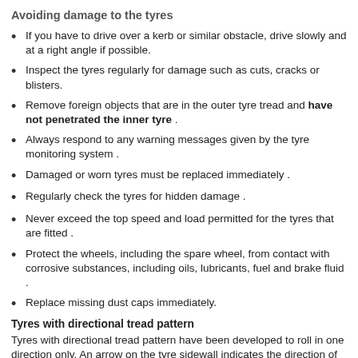Avoiding damage to the tyres
If you have to drive over a kerb or similar obstacle, drive slowly and at a right angle if possible.
Inspect the tyres regularly for damage such as cuts, cracks or blisters.
Remove foreign objects that are in the outer tyre tread and have not penetrated the inner tyre .
Always respond to any warning messages given by the tyre monitoring system .
Damaged or worn tyres must be replaced immediately .
Regularly check the tyres for hidden damage .
Never exceed the top speed and load permitted for the tyres that are fitted .
Protect the wheels, including the spare wheel, from contact with corrosive substances, including oils, lubricants, fuel and brake fluid .
Replace missing dust caps immediately.
Tyres with directional tread pattern
Tyres with directional tread pattern have been developed to roll in one direction only. An arrow on the tyre sidewall indicates the direction of